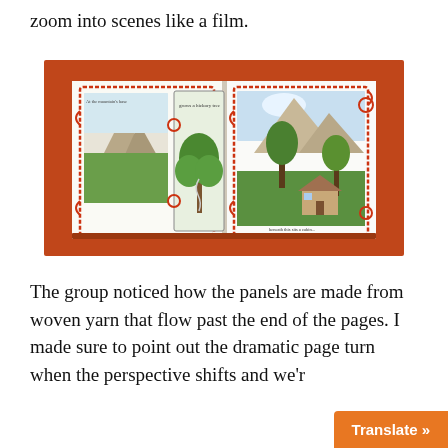zoom into scenes like a film.
[Figure (photo): An open illustrated children's book photographed on an orange-red surface. The book shows two pages with hand-drawn watercolor scenes of mountains, trees, and a cabin, framed by decorative red yarn/rope borders. The left page has a smaller panel showing a tree with text 'grows a hickory tree' and mountain scenery. The right page shows a cabin beneath mountains with text 'beneath this sits a cabin'.]
The group noticed how the panels are made from woven yarn that flow past the end of the pages. I made sure to point out the dramatic page turn when the perspective shifts and we'r